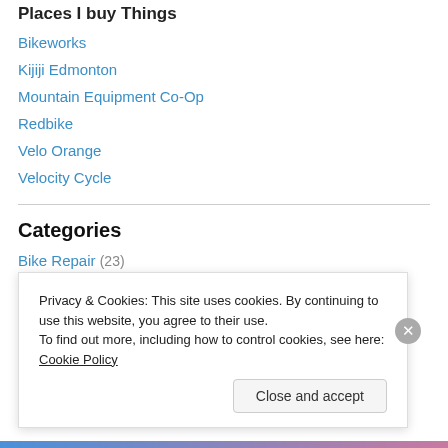Places I buy Things
Bikeworks
Kijiji Edmonton
Mountain Equipment Co-Op
Redbike
Velo Orange
Velocity Cycle
Categories
Bike Repair (23)
Busking (6)
Classic & Vintage Bikes (29)
Privacy & Cookies: This site uses cookies. By continuing to use this website, you agree to their use. To find out more, including how to control cookies, see here: Cookie Policy